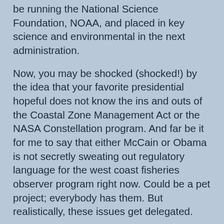be running the National Science Foundation, NOAA, and placed in key science and environmental in the next administration.
Now, you may be shocked (shocked!) by the idea that your favorite presidential hopeful does not know the ins and outs of the Coastal Zone Management Act or the NASA Constellation program. And far be it for me to say that either McCain or Obama is not secretly sweating out regulatory language for the west coast fisheries observer program right now. Could be a pet project; everybody has them. But realistically, these issues get delegated.
Reading these replies is a way to glimpse who those delegates will be, and which issues get more or less importance. At ScienceDebate, the replies vary enough in tone and phrasing that you can detect different writers. Just going by word count (i.e. how much certain staffers were allowed to write and how jazzed up they got) Obama's hot on stem cell research and health, while McCain has a fully staffed space program ready to go. The Wordle of both candidates shows that everybody loves research. How more research fits into a budget with a trillion-dollar financial